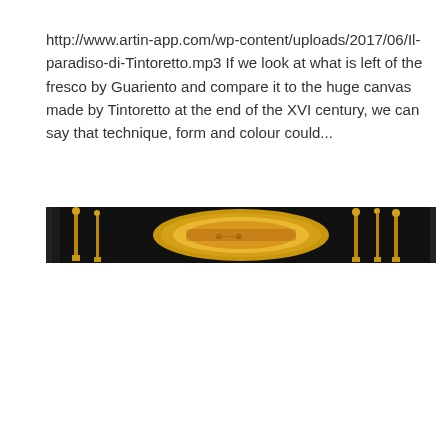http://www.artin-app.com/wp-content/uploads/2017/06/Il-paradiso-di-Tintoretto.mp3 If we look at what is left of the fresco by Guariento and compare it to the huge canvas made by Tintoretto at the end of the XVI century, we can say that technique, form and colour could...
[Figure (photo): A narrow horizontal cropped photograph showing ornate golden decorative objects against a dark background — appears to be museum artifacts including a large circular golden disc/plate and tall candlestick-like golden stands.]